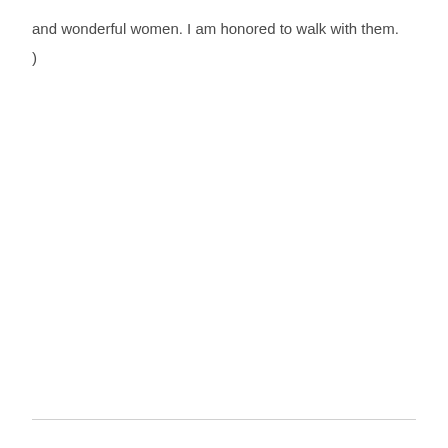and wonderful women. I am honored to walk with them.
)